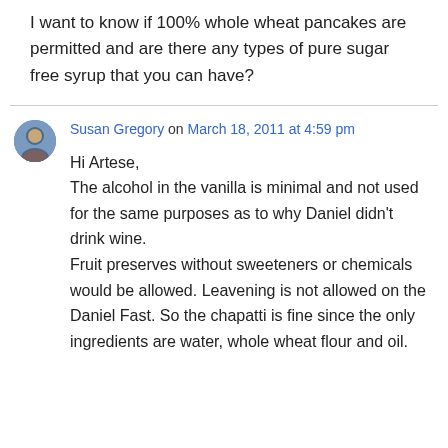I want to know if 100% whole wheat pancakes are permitted and are there any types of pure sugar free syrup that you can have?
Susan Gregory on March 18, 2011 at 4:59 pm
Hi Artese,
The alcohol in the vanilla is minimal and not used for the same purposes as to why Daniel didn't drink wine.
Fruit preserves without sweeteners or chemicals would be allowed. Leavening is not allowed on the Daniel Fast. So the chapatti is fine since the only ingredients are water, whole wheat flour and oil.